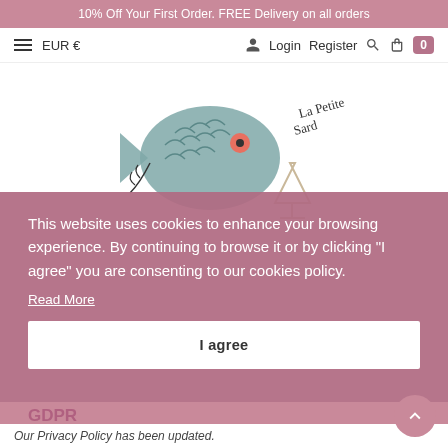10% Off Your First Order. FREE Delivery on all orders
EUR €  Login  Register
[Figure (logo): La Petite Sardine logo: illustrated fish with scales and a wine glass]
This website uses cookies to enhance your browsing experience. By continuing to browse it or by clicking "I agree" you are consenting to our cookies policy.
Read More
I agree
GDPR
Our Privacy Policy has been updated.